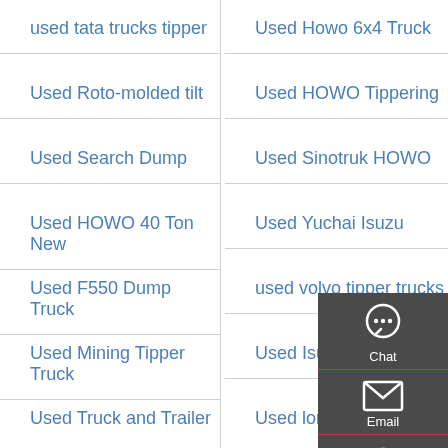used tata trucks tipper
Used Howo 6x4 Truck
Used Roto-molded tilt
Used HOWO Tippering
Used Search Dump
Used Sinotruk HOWO
Used HOWO 40 Ton New
Used Yuchai Isuzu
Used F550 Dump Truck
used volvo tipper trucks
Used Mining Tipper Truck
Used Isuzu 4X2 190HP
Used Truck and Trailer
Used long head tractor